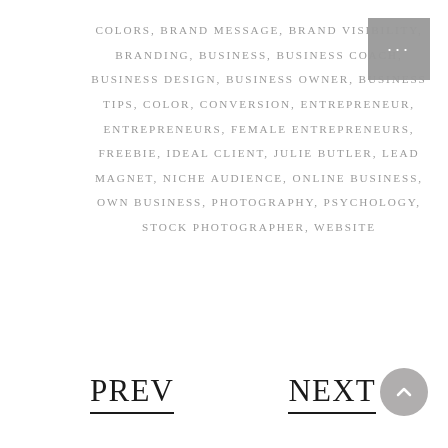COLORS, BRAND MESSAGE, BRAND VISIBILITY, BRANDING, BUSINESS, BUSINESS COACH, BUSINESS DESIGN, BUSINESS OWNER, BUSINESS TIPS, COLOR, CONVERSION, ENTREPRENEUR, ENTREPRENEURS, FEMALE ENTREPRENEURS, FREEBIE, IDEAL CLIENT, JULIE BUTLER, LEAD MAGNET, NICHE AUDIENCE, ONLINE BUSINESS, OWN BUSINESS, PHOTOGRAPHY, PSYCHOLOGY, STOCK PHOTOGRAPHER, WEBSITE
PREV
NEXT